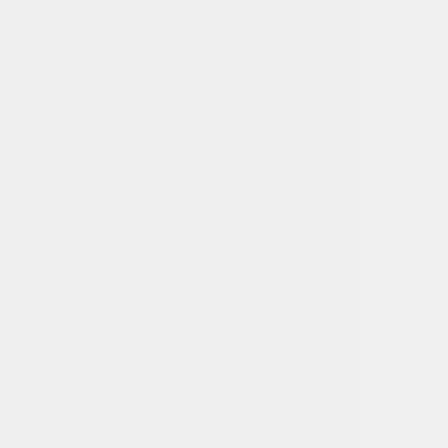[Figure (screenshot): Wiki-style editor interface showing collapsible UI boxes with + controls. One box contains '==Discussion==' wiki markup. A highlighted comment box is visible with review text.]
==Discussion==
I personally thought this work was quite interesting. I have often wondered how information would travel through a many body system where energy is conserved. I now know that the information propagates via a random walk. This paper is